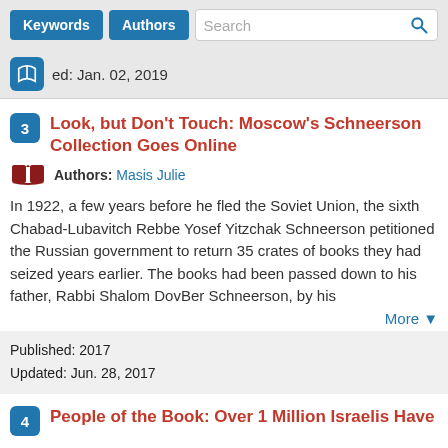[Figure (screenshot): Search bar with Keywords and Authors buttons and a search input field with magnifying glass icon]
ed: Jan. 02, 2019
Look, but Don't Touch: Moscow's Schneerson Collection Goes Online
Authors: Masis Julie
In 1922, a few years before he fled the Soviet Union, the sixth Chabad-Lubavitch Rebbe Yosef Yitzchak Schneerson petitioned the Russian government to return 35 crates of books they had seized years earlier. The books had been passed down to his father, Rabbi Shalom DovBer Schneerson, by his
More ▼
Published: 2017
Updated: Jun. 28, 2017
People of the Book: Over 1 Million Israelis Have